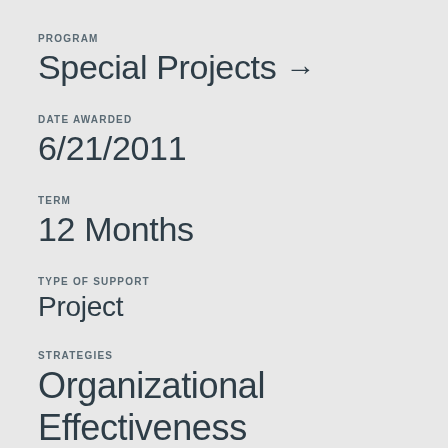PROGRAM
Special Projects →
DATE AWARDED
6/21/2011
TERM
12 Months
TYPE OF SUPPORT
Project
STRATEGIES
Organizational Effectiveness